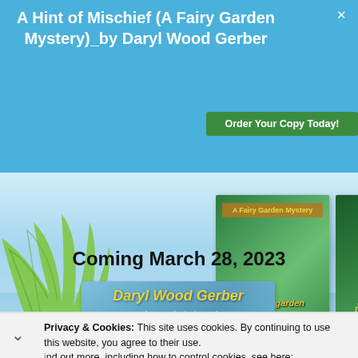A Hint of Mischief (A Fairy Garden Mystery)_by Daryl Wood Gerber
Order Your Copy Today!
[Figure (screenshot): Screenshot of a book promotion webpage. Top blue banner with title 'A Hint of Mischief (A Fairy Garden Mystery)_by Daryl Wood Gerber' and green 'Order Your Copy Today!' button. Below, a scenic background with palm leaf and two book covers: a fairy garden scene and 'A Glimmer of a Clue' by Daryl Wood Gerber. Text 'Coming March 28, 2023' and an author banner for Daryl Wood Gerber, Agatha Award-Winning Author. A cookie notice bar and a sweetFrog advertisement at the bottom.]
Coming March 28, 2023
Daryl Wood Gerber
Agatha Award-Winning Author
Privacy & Cookies: This site uses cookies. By continuing to use this website, you agree to their use.
Find out more, including how to control cookies, see here:
Treat yourself with some froyo
sweetFrog